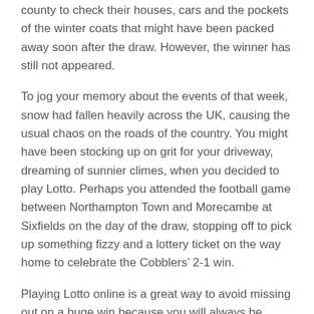county to check their houses, cars and the pockets of the winter coats that might have been packed away soon after the draw. However, the winner has still not appeared.
To jog your memory about the events of that week, snow had fallen heavily across the UK, causing the usual chaos on the roads of the country. You might have been stocking up on grit for your driveway, dreaming of sunnier climes, when you decided to play Lotto. Perhaps you attended the football game between Northampton Town and Morecambe at Sixfields on the day of the draw, stopping off to pick up something fizzy and a lottery ticket on the way home to celebrate the Cobblers’ 2-1 win.
Playing Lotto online is a great way to avoid missing out on a huge win because you will always be contacted by email if you are due a prize. If you do buy physical tickets, make sure you sign the back to prove it is yours and stow it away in a